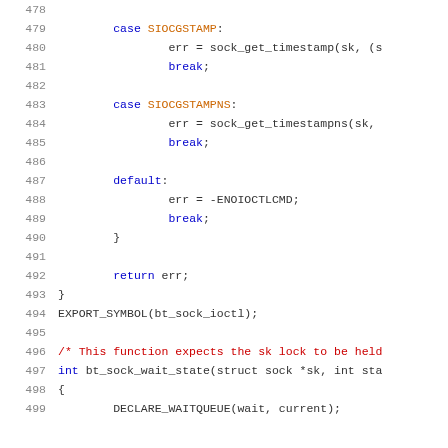[Figure (screenshot): Source code listing lines 478-499 showing C code with switch cases for SIOCGSTAMP, SIOCGSTAMPNS, default, and a new function bt_sock_wait_state]